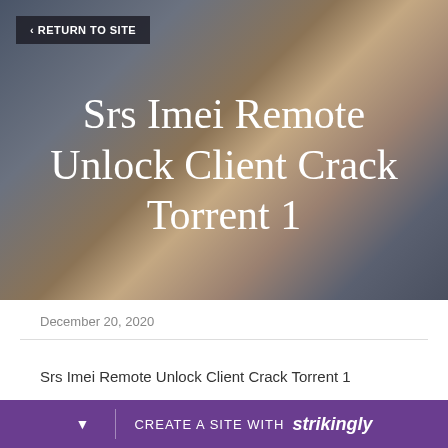[Figure (screenshot): Hero banner with blurred gradient background in muted teal, grey, and warm orange tones]
Srs Imei Remote Unlock Client Crack Torrent 1
December 20, 2020
Srs Imei Remote Unlock Client Crack Torrent 1
DOWNLOAD
CREATE A SITE WITH strikingly